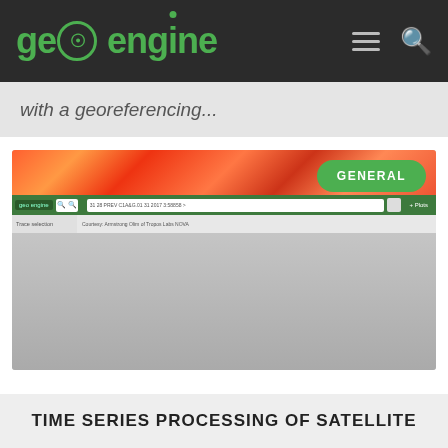geo engine
with a georeferencing
[Figure (screenshot): Screenshot of geo engine web application interface showing a toolbar with search, URL bar, satellite imagery strip in red/orange thermal color, GENERAL badge button, Plots menu, and sidebar with trace labels. Below is a large gray placeholder content area.]
TIME SERIES PROCESSING OF SATELLITE